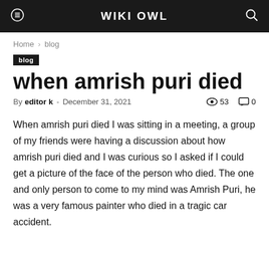WIKI OWL
Home › blog
blog
when amrish puri died
By editor k - December 31, 2021   53   0
When amrish puri died I was sitting in a meeting, a group of my friends were having a discussion about how amrish puri died and I was curious so I asked if I could get a picture of the face of the person who died. The one and only person to come to my mind was Amrish Puri, he was a very famous painter who died in a tragic car accident.